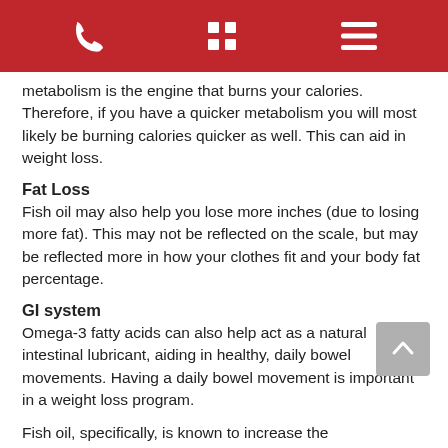[navigation bar with phone, grid, and menu icons]
metabolism is the engine that burns your calories. Therefore, if you have a quicker metabolism you will most likely be burning calories quicker as well. This can aid in weight loss.
Fat Loss
Fish oil may also help you lose more inches (due to losing more fat). This may not be reflected on the scale, but may be reflected more in how your clothes fit and your body fat percentage.
GI system
Omega-3 fatty acids can also help act as a natural intestinal lubricant, aiding in healthy, daily bowel movements. Having a daily bowel movement is important in a weight loss program.
Fish oil, specifically, is known to increase the